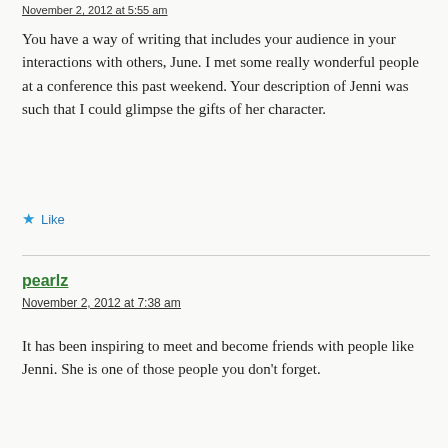November 2, 2012 at 5:55 am
You have a way of writing that includes your audience in your interactions with others, June. I met some really wonderful people at a conference this past weekend. Your description of Jenni was such that I could glimpse the gifts of her character.
Like
pearlz
November 2, 2012 at 7:38 am
It has been inspiring to meet and become friends with people like Jenni. She is one of those people you don't forget.